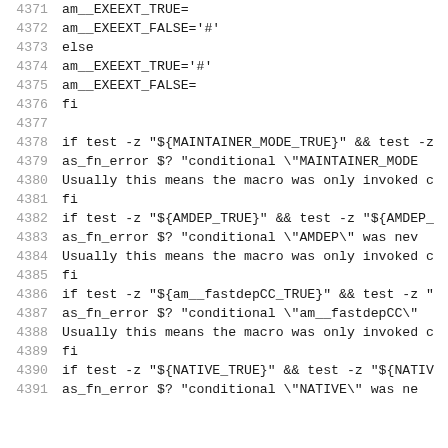4371    am__EXEEXT_TRUE=
4372    am__EXEEXT_FALSE='#'
4373  else
4374    am__EXEEXT_TRUE='#'
4375    am__EXEEXT_FALSE=
4376  fi
4377
4378  if test -z "${MAINTAINER_MODE_TRUE}" && test -z
4379    as_fn_error $? "conditional \"MAINTAINER_MODE
4380  Usually this means the macro was only invoked c
4381  fi
4382  if test -z "${AMDEP_TRUE}" && test -z "${AMDEP_
4383    as_fn_error $? "conditional \"AMDEP\" was nev
4384  Usually this means the macro was only invoked c
4385  fi
4386  if test -z "${am__fastdepCC_TRUE}" && test -z "
4387    as_fn_error $? "conditional \"am__fastdepCC\"
4388  Usually this means the macro was only invoked c
4389  fi
4390  if test -z "${NATIVE_TRUE}" && test -z "${NATIV
4391    as_fn_error $? "conditional \"NATIVE\" was ne